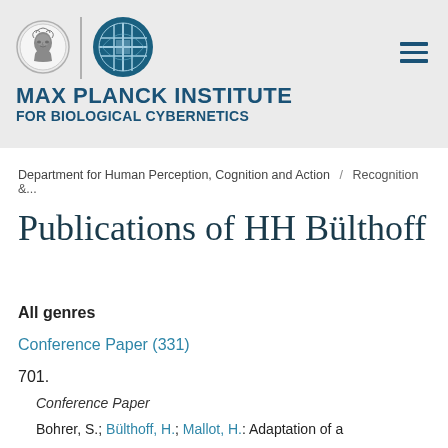[Figure (logo): Max Planck Institute for Biological Cybernetics logo with Minerva coin seal and geometric MPI symbol]
MAX PLANCK INSTITUTE FOR BIOLOGICAL CYBERNETICS
Department for Human Perception, Cognition and Action / Recognition &...
Publications of HH Bülthoff
All genres
Conference Paper (331)
701.
Conference Paper
Bohrer, S.; Bülthoff, H.; Mallot, H.: Adaptation of a